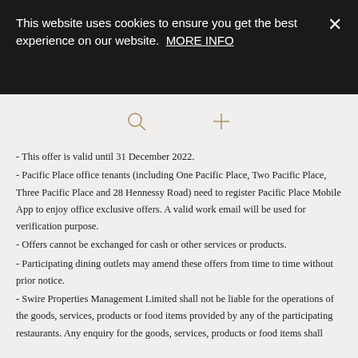This website uses cookies to ensure you get the best experience on our website. MORE INFO
[Figure (other): Navigation icons: search (magnifying glass) and plus sign]
- This offer is valid until 31 December 2022.
- Pacific Place office tenants (including One Pacific Place, Two Pacific Place, Three Pacific Place and 28 Hennessy Road) need to register Pacific Place Mobile App to enjoy office exclusive offers. A valid work email will be used for verification purpose.
- Offers cannot be exchanged for cash or other services or products.
- Participating dining outlets may amend these offers from time to time without prior notice.
- Swire Properties Management Limited shall not be liable for the operations of the goods, services, products or food items provided by any of the participating restaurants. Any enquiry for the goods, services, products or food items shall